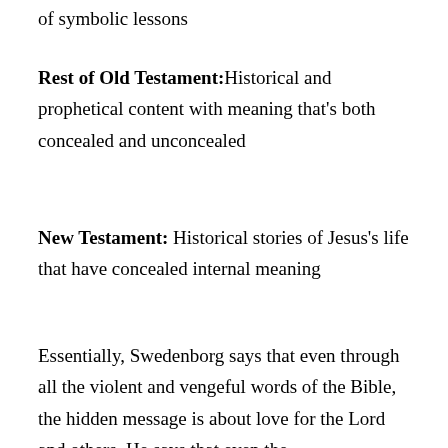of symbolic lessons
Rest of Old Testament: Historical and prophetical content with meaning that's both concealed and unconcealed
New Testament: Historical stories of Jesus's life that have concealed internal meaning
Essentially, Swedenborg says that even through all the violent and vengeful words of the Bible, the hidden message is about love for the Lord and others. He says that even the